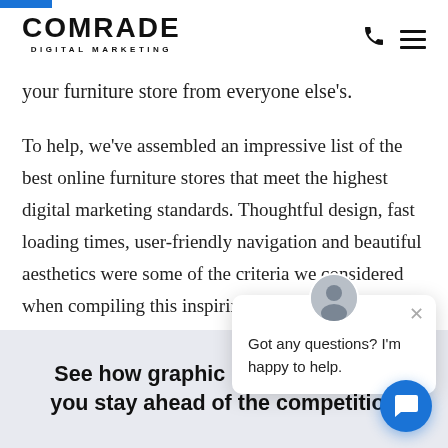COMRADE DIGITAL MARKETING
your furniture store from everyone else's.
To help, we've assembled an impressive list of the best online furniture stores that meet the highest digital marketing standards. Thoughtful design, fast loading times, user-friendly navigation and beautiful aesthetics were some of the criteria we considered when compiling this inspiring list.
Got any questions? I'm happy to help.
See how graphic design can help you stay ahead of the competition